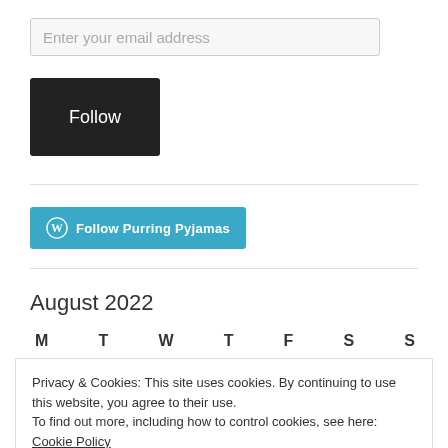Enter your email address
Follow
Follow Purring Pyjamas
August 2022
| M | T | W | T | F | S | S |
| --- | --- | --- | --- | --- | --- | --- |
Privacy & Cookies: This site uses cookies. By continuing to use this website, you agree to their use.
To find out more, including how to control cookies, see here: Cookie Policy
Close and accept
22  23  24  25  26  27  28